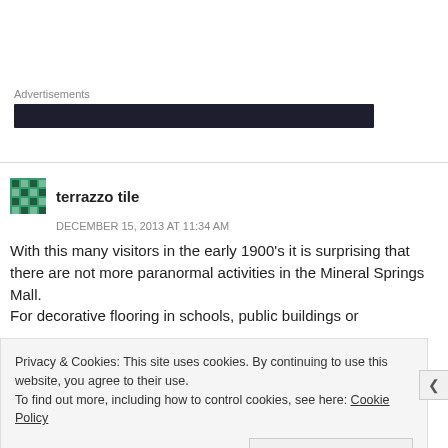Advertisements
[Figure (other): Dark advertisement banner bar]
terrazzo tile
DECEMBER 15, 2013 AT 11:34 AM
With this many visitors in the early 1900’s it is surprising that there are not more paranormal activities in the Mineral Springs Mall.
For decorative flooring in schools, public buildings or
Privacy & Cookies: This site uses cookies. By continuing to use this website, you agree to their use.
To find out more, including how to control cookies, see here: Cookie Policy
Close and accept